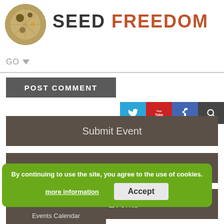[Figure (logo): Seed Freedom website logo with circular seed image and text SEED FREEDOM]
GO | Twitter | YouTube | Facebook | Search
POST COMMENT
Submit Event
Upcoming Events
Past Events
By continuing to use the site, you agree to the use of cookies.
more information   Accept
Events Calendar